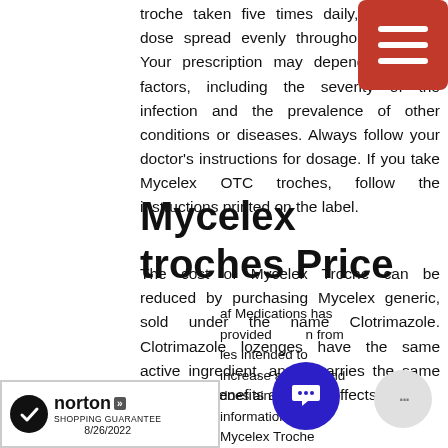troche taken five times daily, with each dose spread evenly throughout the day. Your prescription may depend on other factors, including the severity of the infection and the prevalence of other conditions or diseases. Always follow your doctor's instructions for dosage. If you take Mycelex OTC troches, follow the instructions printed on the label.
Mycelex troches Price
The cost of Mycelex Troche can be reduced by purchasing Mycelex generic, sold under the name Clotrimazole. Clotrimazole lozenges have the same active ingredient, and it carries the same treatment benefits and side effects.
af Medications has provided information from ies intended to increase awareness and does ain all the information about Mycelex Troche